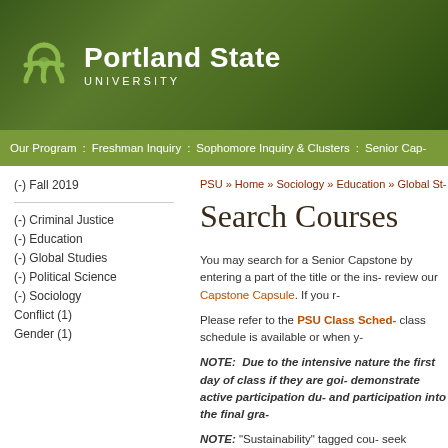[Figure (logo): Portland State University logo and header banner with green gradient background]
Our Program : Freshman Inquiry : Sophomore Inquiry & Clusters : Senior Cap-
PSU » Home » Sociology » Education » Global St-
Search Courses
(-) Fall 2019
(-) Criminal Justice
(-) Education
(-) Global Studies
(-) Political Science
(-) Sociology
Conflict (1)
Gender (1)
You may search for a Senior Capstone by entering a part of the title or the ins- review our Capstone Capsule. If you r-
Please refer to the PSU Class Sched- class schedule is available or when y-
NOTE:  Due to the intensive nature the first day of class if they are goi- demonstrate active participation du- and participation into the final gra-
NOTE:  "Sustainability" tagged cou- seek approval from Joseph Maser,